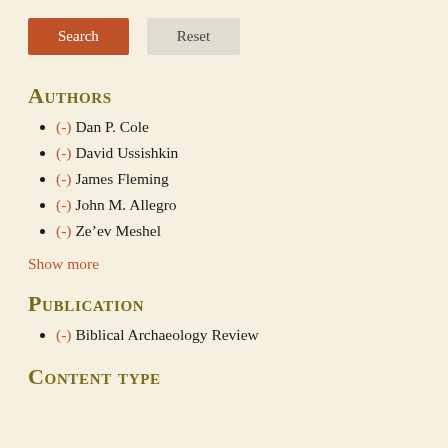[Figure (other): Search and Reset buttons at the top of a filter sidebar]
Authors
(-) Dan P. Cole
(-) David Ussishkin
(-) James Fleming
(-) John M. Allegro
(-) Ze'ev Meshel
Show more
Publication
(-) Biblical Archaeology Review
Content type